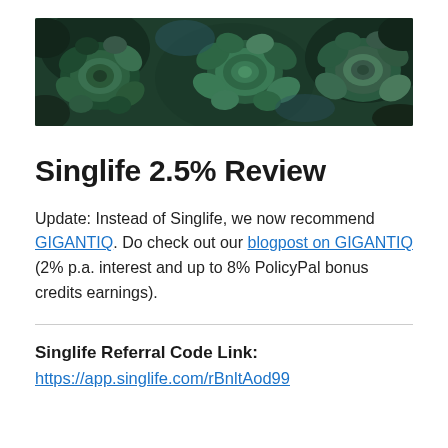[Figure (photo): A close-up photo of green/teal succulent plants with dark green and blue-green tones filling the banner area.]
Singlife 2.5% Review
Update: Instead of Singlife, we now recommend GIGANTIQ. Do check out our blogpost on GIGANTIQ (2% p.a. interest and up to 8% PolicyPal bonus credits earnings).
Singlife Referral Code Link:
https://app.singlife.com/rBnltAod99